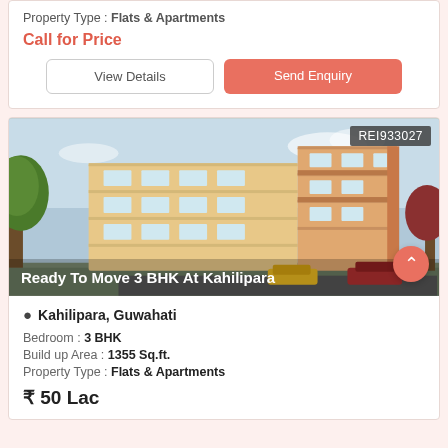Property Type : Flats & Apartments
Call for Price
View Details
Send Enquiry
[Figure (photo): Exterior rendering of a multi-storey residential apartment building with beige and orange facade, labeled REI933027 in top right corner, with overlay text 'Ready To Move 3 BHK At Kahilipara']
Kahilipara, Guwahati
Bedroom : 3 BHK
Build up Area : 1355 Sq.ft.
Property Type : Flats & Apartments
₹ 50 Lac